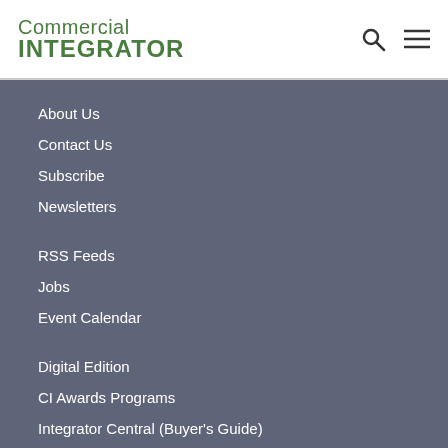[Figure (logo): Commercial Integrator logo in green text with search and menu icons in header]
About Us
Contact Us
Subscribe
Newsletters
RSS Feeds
Jobs
Event Calendar
Digital Edition
CI Awards Programs
Integrator Central (Buyer's Guide)
Customer Service
Media Solutions & Advertising